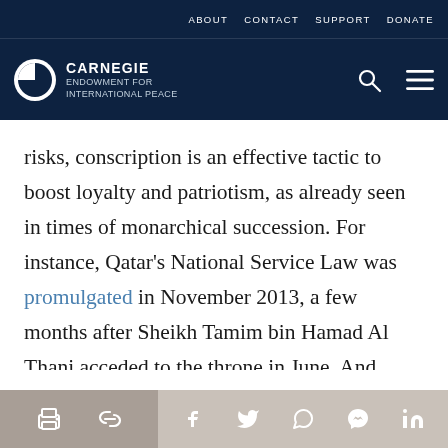ABOUT   CONTACT   SUPPORT   DONATE
[Figure (logo): Carnegie Endowment for International Peace logo with white circular icon and text]
risks, conscription is an effective tactic to boost loyalty and patriotism, as already seen in times of monarchical succession. For instance, Qatar's National Service Law was promulgated in November 2013, a few months after Sheikh Tamim bin Hamad Al Thani acceded to the throne in June. And Saudi Arabia's decision to open up military service to women coincides with the unprecedented military operations in Yemen, full reorganization of the